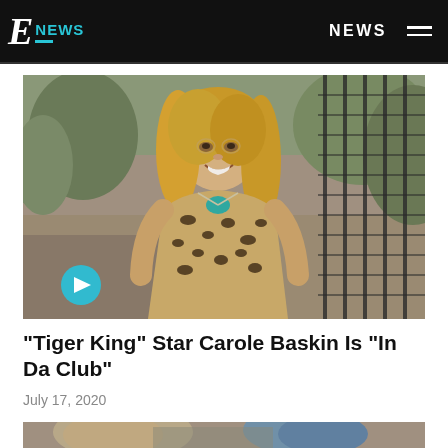E NEWS   NEWS
[Figure (photo): Carole Baskin smiling in leopard print top in front of animal enclosure fence, with play button overlay]
"Tiger King" Star Carole Baskin Is "In Da Club"
July 17, 2020
[Figure (photo): Partial view of two people outdoors, bottom of page]